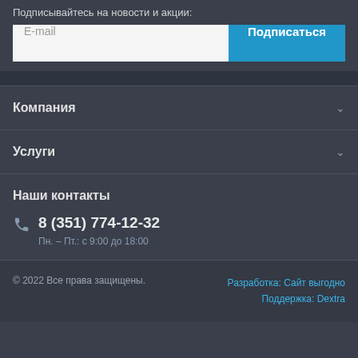Подписывайтесь на новости и акции:
E-mail
Подписаться
Компания
Услуги
Наши контакты
8 (351) 774-12-32
Пн. – Пт.: с 9:00 до 18:00
© 2022 Все права защищены.
Разработка: Сайт выгодно
Поддержка: Dextra